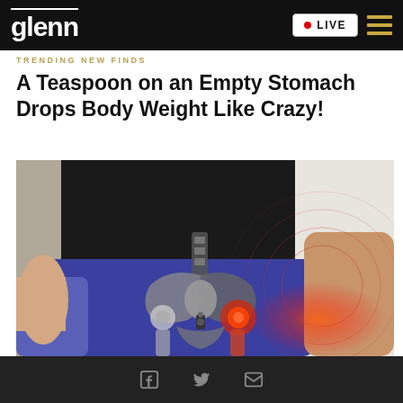glenn  • LIVE
TRENDING NEW FINDS
A Teaspoon on an Empty Stomach Drops Body Weight Like Crazy!
[Figure (photo): Photo showing a person's midsection with a medical illustration overlaid showing hip/pelvis anatomy with a red glowing area indicating pain, and a hand gripping the hip area.]
Social share icons: Facebook, Twitter, Email